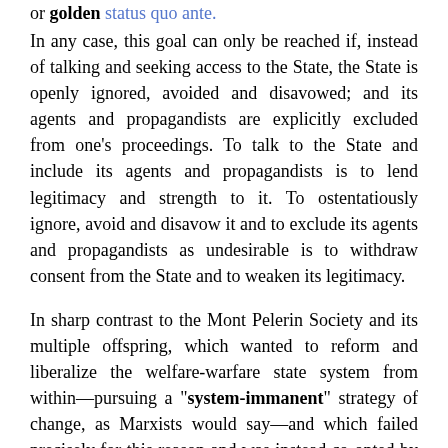or golden status quo ante.
In any case, this goal can only be reached if, instead of talking and seeking access to the State, the State is openly ignored, avoided and disavowed; and its agents and propagandists are explicitly excluded from one's proceedings. To talk to the State and include its agents and propagandists is to lend legitimacy and strength to it. To ostentatiously ignore, avoid and disavow it and to exclude its agents and propagandists as undesirable is to withdraw consent from the State and to weaken its legitimacy.
In sharp contrast to the Mont Pelerin Society and its multiple offspring, which wanted to reform and liberalize the welfare-warfare state system from within—pursuing a "system-immanent" strategy of change, as Marxists would say—and which failed precisely for this reason and was instead co-opted by the State as part of the political establishment, my envisioned society, the Property and Freedom Society was to pursue a "system-transcending" strategy.